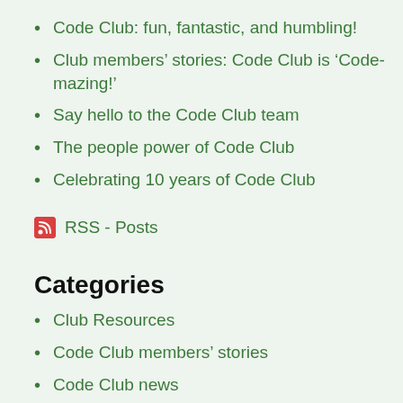Code Club: fun, fantastic, and humbling!
Club members’ stories: Code Club is ‘Code-mazing!’
Say hello to the Code Club team
The people power of Code Club
Celebrating 10 years of Code Club
RSS - Posts
Categories
Club Resources
Code Club members’ stories
Code Club news
Code Club team
Code Club 10